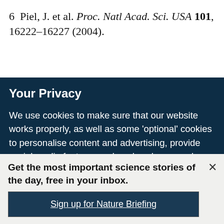6  Piel, J. et al. Proc. Natl Acad. Sci. USA 101, 16222–16227 (2004).
Your Privacy
We use cookies to make sure that our website works properly, as well as some 'optional' cookies to personalise content and advertising, provide social media features and analyse how people use our site. By accepting some or all optional cookies you give consent to the processing of your personal data, including transfer to third parties, some in countries outside of the European Economic Area that do not offer the same data protection standards as the country where you live. You can decide which optional cookies to accept by clicking on 'Manage Settings', where you can also find more information about how your personal data is
Get the most important science stories of the day, free in your inbox.
Sign up for Nature Briefing